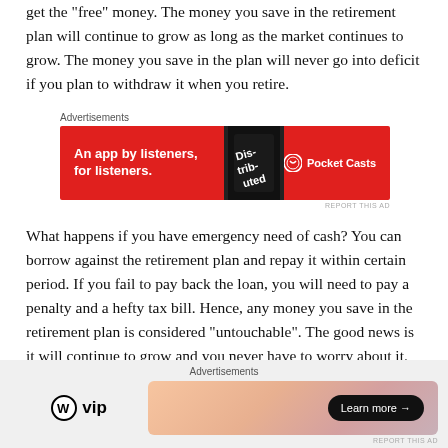get the "free" money. The money you save in the retirement plan will continue to grow as long as the market continues to grow. The money you save in the plan will never go into deficit if you plan to withdraw it when you retire.
[Figure (other): Advertisement banner: Pocket Casts - An app by listeners, for listeners. Red background with phone image and Pocket Casts logo.]
What happens if you have emergency need of cash? You can borrow against the retirement plan and repay it within certain period. If you fail to pay back the loan, you will need to pay a penalty and a hefty tax bill. Hence, any money you save in the retirement plan is considered “untouchable”. The good news is it will continue to grow and you never have to worry about it.
[Figure (other): Advertisement banner: WordPress VIP logo on left, gradient orange-pink box with Learn more button on right.]